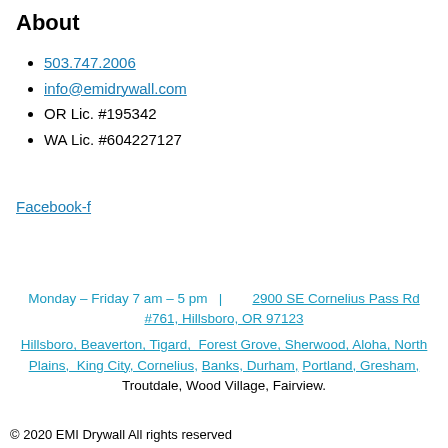About
503.747.2006
info@emidrywall.com
OR Lic. #195342
WA Lic. #604227127
Facebook-f
Monday – Friday 7 am – 5 pm  |  2900 SE Cornelius Pass Rd #761, Hillsboro, OR 97123
Hillsboro, Beaverton, Tigard, Forest Grove, Sherwood, Aloha, North Plains, King City, Cornelius, Banks, Durham, Portland, Gresham, Troutdale, Wood Village, Fairview.
© 2020 EMI Drywall All rights reserved